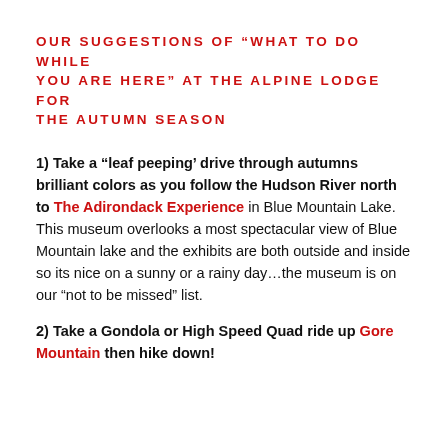OUR SUGGESTIONS OF “WHAT TO DO WHILE YOU ARE HERE” AT THE ALPINE LODGE FOR THE AUTUMN SEASON
1) Take a “leaf peeping’ drive through autumns brilliant colors as you follow the Hudson River north to The Adirondack Experience in Blue Mountain Lake. This museum overlooks a most spectacular view of Blue Mountain lake and the exhibits are both outside and inside so its nice on a sunny or a rainy day…the museum is on our “not to be missed” list.
2) Take a Gondola or High Speed Quad ride up Gore Mountain then hike down!